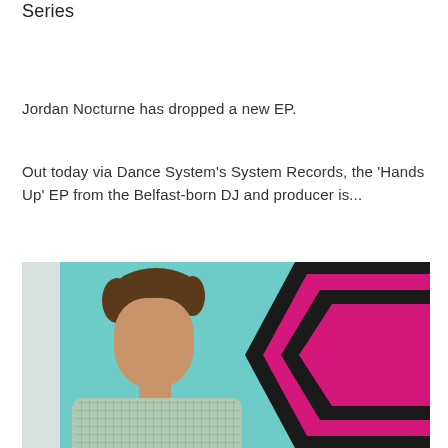Series
Jordan Nocturne has dropped a new EP.
Out today via Dance System's System Records, the 'Hands Up' EP from the Belfast-born DJ and producer is...
[Figure (photo): A person with curly hair wearing a patterned shirt, standing against a teal/mint background with a black-bordered pink chevron shape on the right side.]